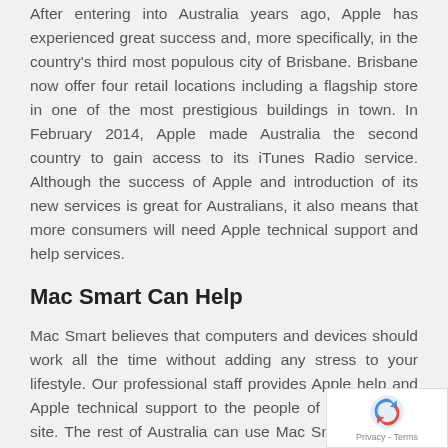After entering into Australia years ago, Apple has experienced great success and, more specifically, in the country's third most populous city of Brisbane. Brisbane now offer four retail locations including a flagship store in one of the most prestigious buildings in town. In February 2014, Apple made Australia the second country to gain access to its iTunes Radio service. Although the success of Apple and introduction of its new services is great for Australians, it also means that more consumers will need Apple technical support and help services.
Mac Smart Can Help
Mac Smart believes that computers and devices should work all the time without adding any stress to your lifestyle. Our professional staff provides Apple help and Apple technical support to the people of Brisbane on-site. The rest of Australia can use Mac Smart remotely for Apple service. Australia loves its Apple products and Mac Smart helps make those products even better. We have a personable staff that loves making your life easier through Apple technical support.
Your Apple devices should simply entertain you and increase productivity, but sometimes a technical issue can just add stress to your life and waste your valuable time. We believe that getting